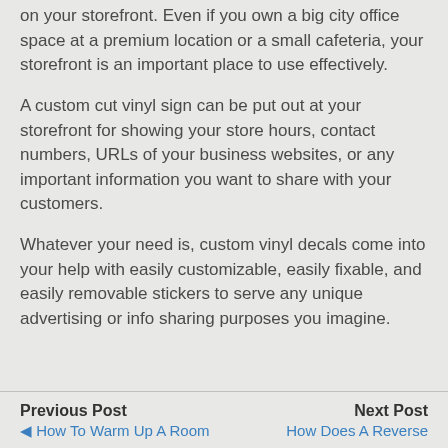on your storefront. Even if you own a big city office space at a premium location or a small cafeteria, your storefront is an important place to use effectively.
A custom cut vinyl sign can be put out at your storefront for showing your store hours, contact numbers, URLs of your business websites, or any important information you want to share with your customers.
Whatever your need is, custom vinyl decals come into your help with easily customizable, easily fixable, and easily removable stickers to serve any unique advertising or info sharing purposes you imagine.
Previous Post | Next Post | ◄ How To Warm Up A Room | How Does A Reverse...